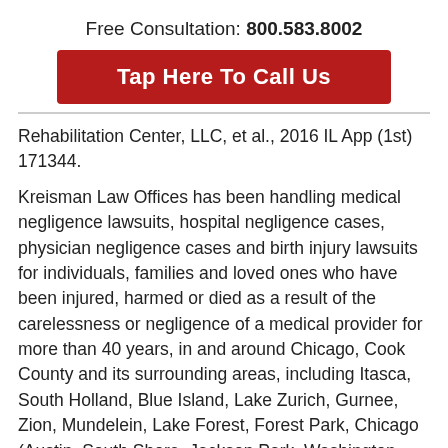Free Consultation: 800.583.8002
Tap Here To Call Us
Rehabilitation Center, LLC, et al., 2016 IL App (1st) 171344.
Kreisman Law Offices has been handling medical negligence lawsuits, hospital negligence cases, physician negligence cases and birth injury lawsuits for individuals, families and loved ones who have been injured, harmed or died as a result of the carelessness or negligence of a medical provider for more than 40 years, in and around Chicago, Cook County and its surrounding areas, including Itasca, South Holland, Blue Island, Lake Zurich, Gurnee, Zion, Mundelein, Lake Forest, Forest Park, Chicago (Austin, South Shore, Jackson Park, Washington Park, Irving Park, Jefferson Park, Albany Park,